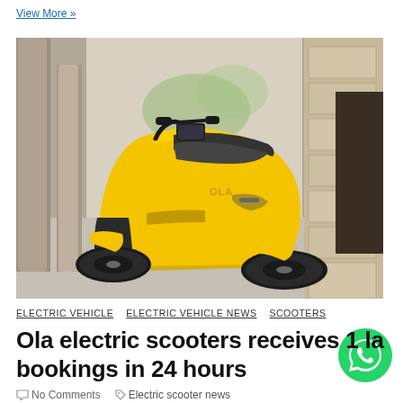View More »
[Figure (photo): Yellow Ola electric scooter parked in a building with pillars, photographed from the right side showing the OLA logo on the body.]
ELECTRIC VEHICLE   ELECTRIC VEHICLE NEWS   SCOOTERS
Ola electric scooters receives 1 la bookings in 24 hours
No Comments   Electric scooter news